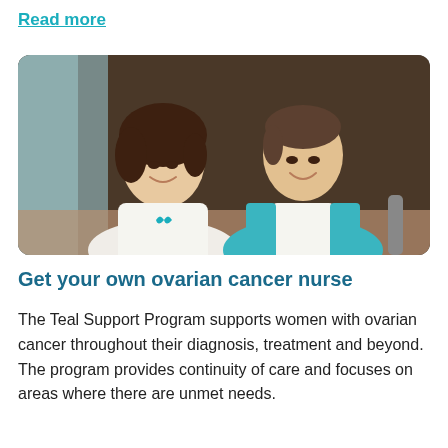Read more
[Figure (photo): Two women smiling and sitting at a table. The woman on the left wears a white top with a teal ribbon pin. The woman on the right wears a teal cardigan over a white top. They are seated in front of a dark wood-paneled wall.]
Get your own ovarian cancer nurse
The Teal Support Program supports women with ovarian cancer throughout their diagnosis, treatment and beyond. The program provides continuity of care and focuses on areas where there are unmet needs.